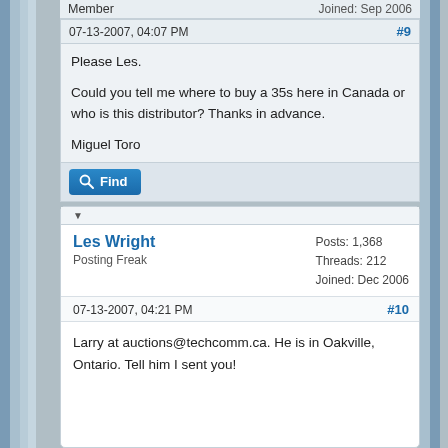Member
Joined: Sep 2006
07-13-2007, 04:07 PM
#9
Please Les.

Could you tell me where to buy a 35s here in Canada or who is this distributor? Thanks in advance.

Miguel Toro
Find
Les Wright
Posting Freak
Posts: 1,368
Threads: 212
Joined: Dec 2006
07-13-2007, 04:21 PM
#10
Larry at auctions@techcomm.ca. He is in Oakville, Ontario. Tell him I sent you!